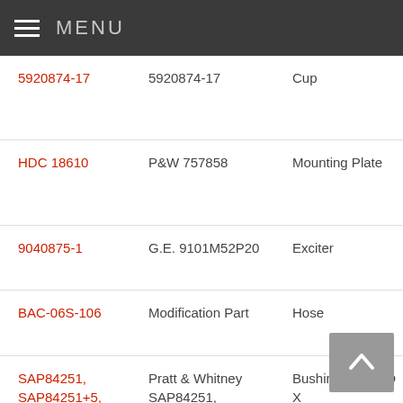MENU
| Part Number | OEM Part Number | Part Type | Detail |
| --- | --- | --- | --- |
| 5920874-17 | 5920874-17 | Cup | -34, (MD 87), |
| HDC 18610 | P&W 757858 | Mounting Plate | Pratt G2, 7Q, |
| 9040875-1 | G.E. 9101M52P20 | Exciter | CFM (CF6 |
| BAC-06S-106 | Modification Part | Hose | Aero -602 |
| SAP84251, SAP84251+5, | Pratt & Whitney SAP84251, SAP84251+5, | Bushing 1.366 ID X 1.540 OD X 1.750 | Pratt -3, - and |